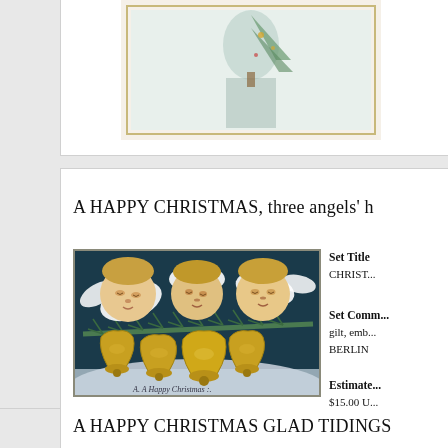[Figure (photo): Partial view of a vintage Christmas postcard showing a figure with a Christmas tree, partially cropped at top of page]
A HAPPY CHRISTMAS, three angels' h
[Figure (photo): Vintage Christmas postcard showing three cherub/angel faces with white wings above golden bells and pine branches, with text 'A Happy Christmas' at bottom]
Set Title
CHRIST...
Set Comm...
gilt, emb...
BERLIN
Estimate
$15.00 U...
Orientatio...
Horizonta...
A HAPPY CHRISTMAS GLAD TIDINGS